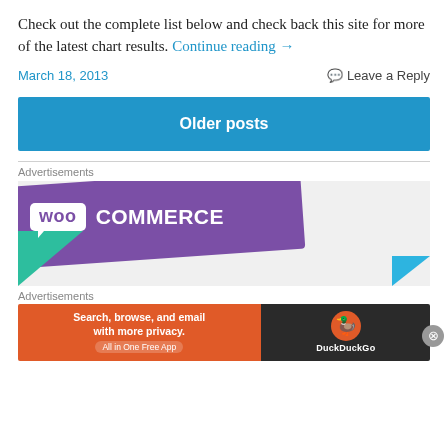Check out the complete list below and check back this site for more of the latest chart results. Continue reading →
March 18, 2013 | Leave a Reply
Older posts
Advertisements
[Figure (logo): WooCommerce advertisement banner with purple background, white logo text, green triangle and blue triangle accents]
Advertisements
[Figure (illustration): DuckDuckGo advertisement: orange left panel with 'Search, browse, and email with more privacy. All in One Free App', dark right panel with DuckDuckGo duck logo]